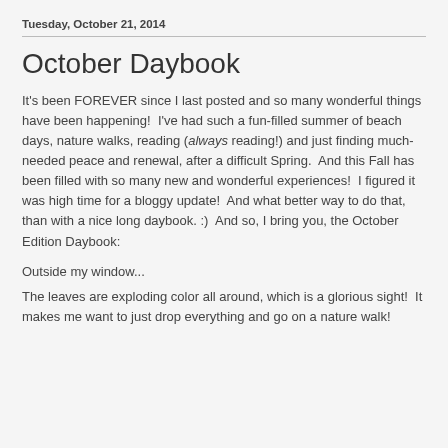Tuesday, October 21, 2014
October Daybook
It's been FOREVER since I last posted and so many wonderful things have been happening!  I've had such a fun-filled summer of beach days, nature walks, reading (always reading!) and just finding much-needed peace and renewal, after a difficult Spring.  And this Fall has been filled with so many new and wonderful experiences!  I figured it was high time for a bloggy update!  And what better way to do that, than with a nice long daybook. :)  And so, I bring you, the October Edition Daybook:
Outside my window...
The leaves are exploding color all around, which is a glorious sight!  It makes me want to just drop everything and go on a nature walk!